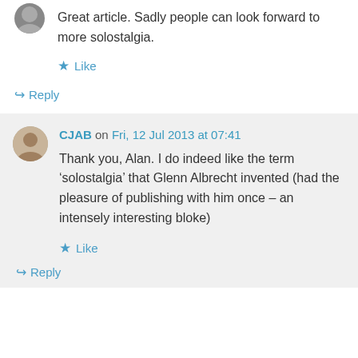Great article. Sadly people can look forward to more solostalgia.
Like
Reply
CJAB on Fri, 12 Jul 2013 at 07:41
Thank you, Alan. I do indeed like the term ‘solostalgia’ that Glenn Albrecht invented (had the pleasure of publishing with him once – an intensely interesting bloke)
Like
Reply